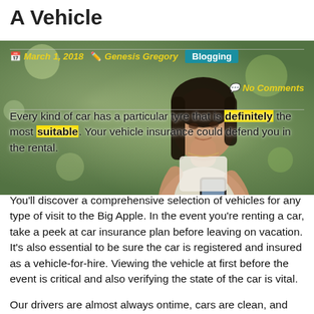A Vehicle
[Figure (photo): Young Asian woman looking at her smartphone outdoors with blurred green background]
March 1, 2018  Genesis Gregory  Blogging  No Comments
Every kind of car has a particular tyre that is definitely the most suitable. Your vehicle insurance could defend you in the rental.
You'll discover a comprehensive selection of vehicles for any type of visit to the Big Apple. In the event you're renting a car, take a peek at car insurance plan before leaving on vacation. It's also essential to be sure the car is registered and insured as a vehicle-for-hire. Viewing the vehicle at first before the event is critical and also verifying the state of the car is vital.
Our drivers are almost always ontime, cars are clean, and you'll always have a wonderful experience with us! When seeking the perfect tyre you've got to make sure the specifications match your requirements and the way you usually driver the vehicle.